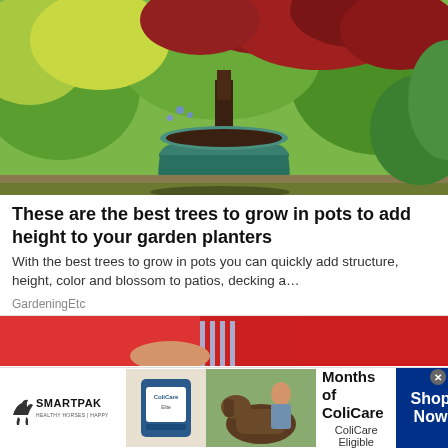[Figure (photo): A Japanese maple tree in a large teal ceramic pot surrounded by green and red foliage in a garden setting]
These are the best trees to grow in pots to add height to your garden planters
With the best trees to grow in pots you can quickly add structure, height, color and blossom to patios, decking a…
GardeningEtc
[Figure (photo): Bottom portion of a second article image - red clothing visible]
[Figure (other): SmartPak advertisement banner: 50% Off Two Months of ColiCare, ColiCare Eligible Supplements, CODE: COLICARE10, Shop Now]